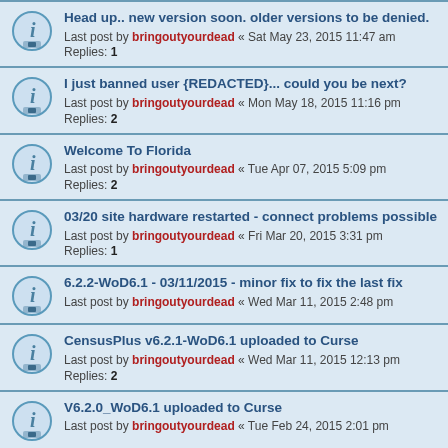Head up.. new version soon. older versions to be denied.
Last post by bringoutyourdead « Sat May 23, 2015 11:47 am
Replies: 1
I just banned user {REDACTED}... could you be next?
Last post by bringoutyourdead « Mon May 18, 2015 11:16 pm
Replies: 2
Welcome To Florida
Last post by bringoutyourdead « Tue Apr 07, 2015 5:09 pm
Replies: 2
03/20 site hardware restarted - connect problems possible
Last post by bringoutyourdead « Fri Mar 20, 2015 3:31 pm
Replies: 1
6.2.2-WoD6.1 - 03/11/2015 - minor fix to fix the last fix
Last post by bringoutyourdead « Wed Mar 11, 2015 2:48 pm
CensusPlus v6.2.1-WoD6.1 uploaded to Curse
Last post by bringoutyourdead « Wed Mar 11, 2015 12:13 pm
Replies: 2
V6.2.0_WoD6.1 uploaded to Curse
Last post by bringoutyourdead « Tue Feb 24, 2015 2:01 pm
CensusPlus V6.2.0.d - uploaded to curse.com
Last post by bringoutyourdead « Mon Feb 02, 2015 12:33 pm
Replies: 2
WorldcraftRealms.com and TOR networks
Last post by bringoutyourdead « Wed Jan 21, 2015 2:01 pm
Website notes: 49 super Census Uploaders